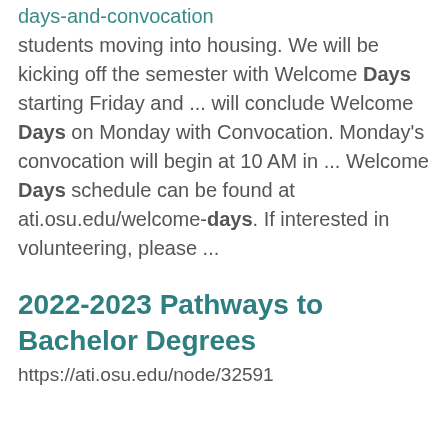days-and-convocation students moving into housing. We will be kicking off the semester with Welcome Days starting Friday and ... will conclude Welcome Days on Monday with Convocation. Monday's convocation will begin at 10 AM in ... Welcome Days schedule can be found at ati.osu.edu/welcome-days. If interested in volunteering, please ...
2022-2023 Pathways to Bachelor Degrees
https://ati.osu.edu/node/32591